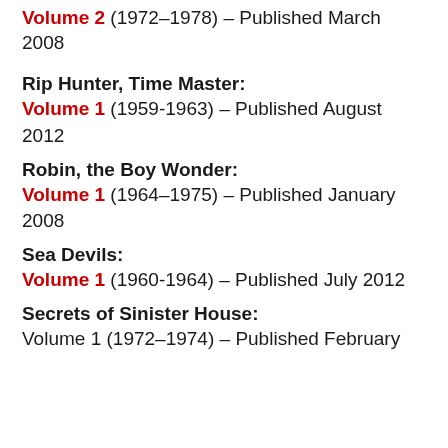Volume 2 (1972–1978) – Published March 2008
Rip Hunter, Time Master:
Volume 1 (1959-1963) – Published August 2012
Robin, the Boy Wonder:
Volume 1 (1964–1975) – Published January 2008
Sea Devils:
Volume 1 (1960-1964) – Published July 2012
Secrets of Sinister House:
Volume 1 (1972–1974) – Published February